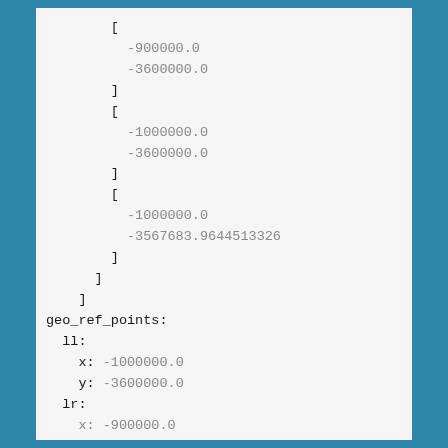[
    -900000.0
    -3600000.0
  ]
  [
    -1000000.0
    -3600000.0
  ]
  [
    -1000000.0
    -3567683.9644513326
  ]
  ]
]
geo_ref_points:
  ll:
    x: -1000000.0
    y: -3600000.0
  lr:
    x: -900000.0